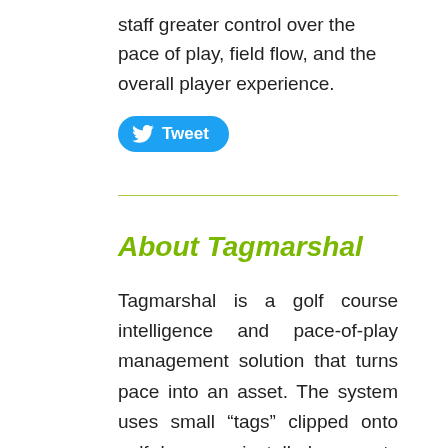staff greater control over the pace of play, field flow, and the overall player experience.
[Figure (other): Twitter Tweet button with bird logo]
About Tagmarshal
Tagmarshal is a golf course intelligence and pace-of-play management solution that turns pace into an asset. The system uses small “tags” clipped onto golf bags or installed on carts which transmit geolocation data. Industry-leading algorithms identify risk groups with accurate, objective support to alleviate pace challenges before they